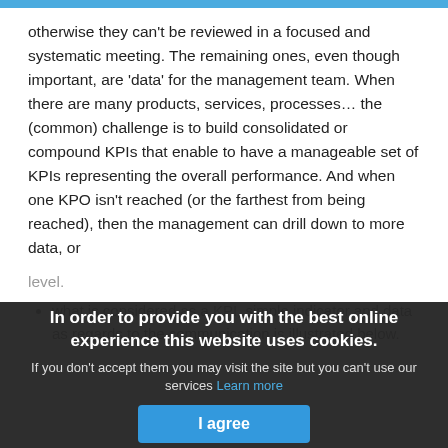otherwise they can't be reviewed in a focused and systematic meeting. The remaining ones, even though important, are 'data' for the management team. When there are many products, services, processes… the (common) challenge is to build consolidated or compound KPIs that enable to have a manageable set of KPIs representing the overall performance. And when one KPO isn't reached (or the farthest from being reached), then the management can drill down to more data, or
level.
what is considered as a KPI, simple indicator and data as regards to the communication is illustrated below.
In order to provide you with the best online experience this website uses cookies.

If you don't accept them you may visit the site but you can't use our services Learn more

I agree